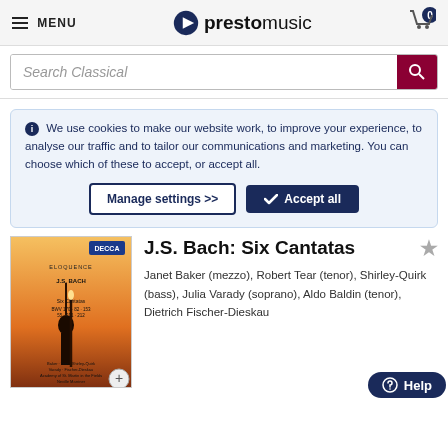MENU | prestomusic | Cart 0
Search Classical
We use cookies to make our website work, to improve your experience, to analyse our traffic and to tailor our communications and marketing. You can choose which of these to accept, or accept all.
Manage settings >> | Accept all
J.S. Bach: Six Cantatas
Janet Baker (mezzo), Robert Tear (tenor), Shirley-Quirk (bass), Julia Varady (soprano), Aldo Baldin (tenor), Dietrich Fischer-Dieskau